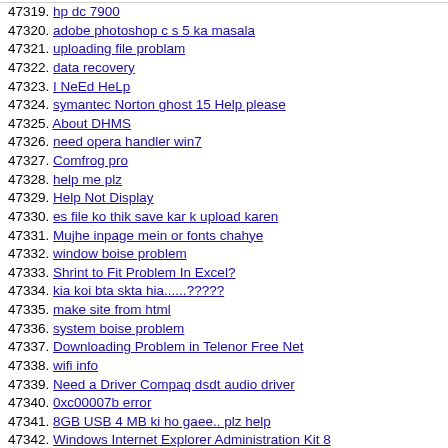47319. hp dc 7900
47320. adobe photoshop c s 5 ka masala
47321. uploading file problam
47322. data recovery
47323. I NeEd HeLp
47324. symantec Norton ghost 15 Help please
47325. About DHMS
47326. need opera handler win7
47327. Comfrog pro
47328. help me plz
47329. Help Not Display
47330. es file ko thik save kar k upload karen
47331. Mujhe inpage mein or fonts chahye
47332. window boise problem
47333. Shrint to Fit Problem In Excel?
47334. kia koi bta skta hia......?????
47335. make site from html
47336. system boise problem
47337. Downloading Problem in Telenor Free Net
47338. wifi info
47339. Need a Driver Compaq dsdt audio driver
47340. 0xc00007b error
47341. 8GB USB 4 MB ki ho gaee.. plz help
47342. Windows Internet Explorer Administration Kit 8
47343. ddos atteckHelp Plzz Guyz
47344. Religion and Spirituality
47345. Boot-able USB for Windows XP
47346. dear friend i so worried help
47347. Downloading Problam from internet
47348. ان ڈیزائن کیا ہے؟
47349. wireless networking expert can tell me?